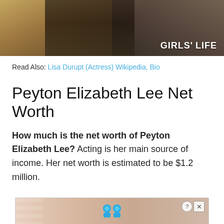[Figure (photo): Partial photo of a woman in a patterned outfit with 'GIRLS' LIFE' watermark in the bottom-right corner]
Read Also: Lisa Durupt (Actress) Wikipedia, Bio
Peyton Elizabeth Lee Net Worth
How much is the net worth of Peyton Elizabeth Lee? Acting is her main source of income. Her net worth is estimated to be $1.2 million.
[Figure (screenshot): Advertisement banner showing 'Hold and Move' with cartoon character icons, close and info buttons in top-right]
Peyton Elizabeth Lee Career